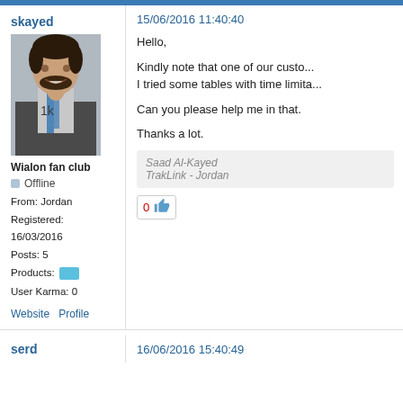skayed
[Figure (photo): Profile photo of user skayed, a man smiling at camera with a blue lanyard]
Wialon fan club
Offline
From: Jordan
Registered: 16/03/2016
Posts: 5
Products:
User Karma: 0
Website   Profile
15/06/2016 11:40:40
Hello,

Kindly note that one of our custo...
I tried some tables with time limita...

Can you please help me in that.

Thanks a lot.
Saad Al-Kayed
TrakLink - Jordan
serd
16/06/2016 15:40:49